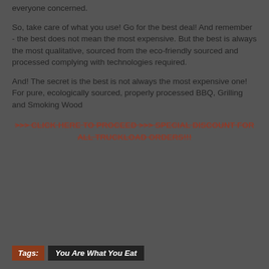everyone concerned.
So, take care of what you use! Go for the best deal! And remember - the best does not mean the most expensive. But the best is always the most qualitative, sourced from the eco-friendly sourced and processed complying with technologies required.
And! The secret is the best is not always the most expensive one!
For pure, ecologically sourced, properly processed BBQ, Grilling and Smoking Wood
>>> CLICK HERE TO PROCEED >>> SPECIAL DISCOUNT FOR ALL TRUCKLOAD ORDERS!!!
Tags: You Are What You Eat